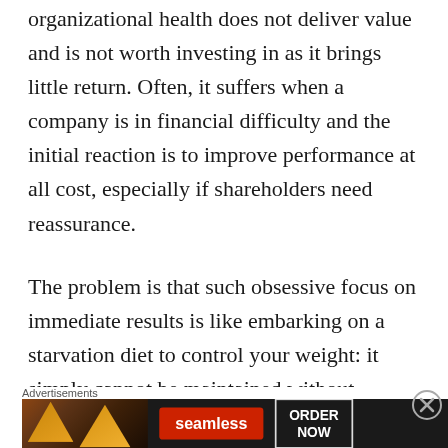organizational health does not deliver value and is not worth investing in as it brings little return. Often, it suffers when a company is in financial difficulty and the initial reaction is to improve performance at all cost, especially if shareholders need reassurance.
The problem is that such obsessive focus on immediate results is like embarking on a starvation diet to control your weight: it simply cannot be maintained without disastrous consequences.
[Figure (other): Advertisement banner for Seamless food delivery service showing pizza slices on dark background with Seamless logo in red and ORDER NOW button]